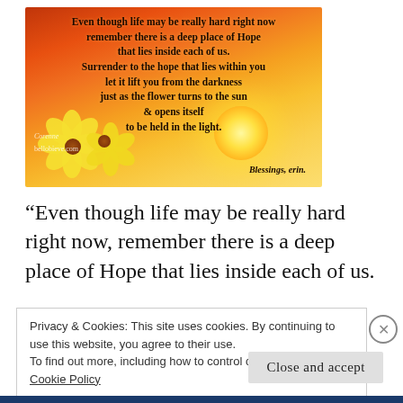[Figure (illustration): Inspirational quote image with sunset background showing orange and yellow sky, sunflowers in the foreground, and motivational text about hope. Text reads: 'Even though life may be really hard right now remember there is a deep place of Hope that lies inside each of us. Surrender to the hope that lies within you let it lift you from the darkness just as the flower turns to the sun & opens itself to be held in the light. Blessings, erin.' Watermark: Corenne, bellobieve.com]
“Even though life may be really hard right now, remember there is a deep place of Hope that lies inside each of us.
Privacy & Cookies: This site uses cookies. By continuing to use this website, you agree to their use.
To find out more, including how to control cookies, see here: Cookie Policy
Close and accept